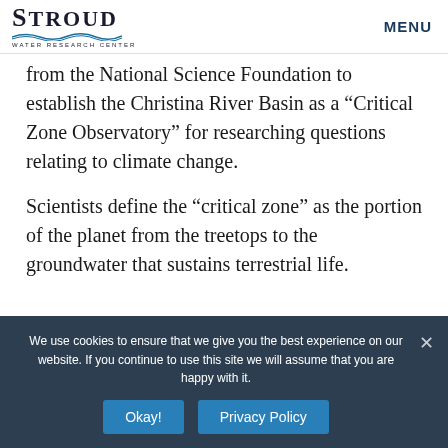Stroud Water Research Center | MENU
from the National Science Foundation to establish the Christina River Basin as a “Critical Zone Observatory” for researching questions relating to climate change.
Scientists define the “critical zone” as the portion of the planet from the treetops to the groundwater that sustains terrestrial life.
We use cookies to ensure that we give you the best experience on our website. If you continue to use this site we will assume that you are happy with it.